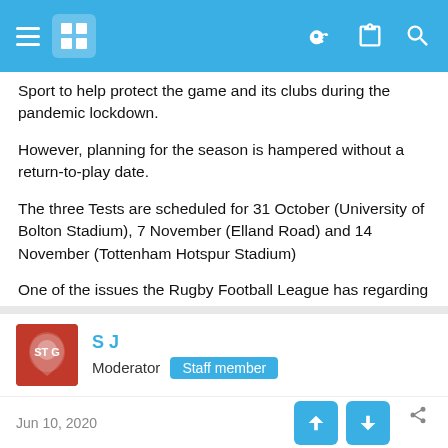Navigation bar with hamburger menu, logo, key icon, clipboard icon, search icon
Sport to help protect the game and its clubs during the pandemic lockdown.
However, planning for the season is hampered without a return-to-play date.
The three Tests are scheduled for 31 October (University of Bolton Stadium), 7 November (Elland Road) and 14 November (Tottenham Hotspur Stadium)
One of the issues the Rugby Football League has regarding the Ashes tour is how the National Rugby League in Australia has remodelled its revised season.
S J
Moderator  Staff member
Jun 10, 2020